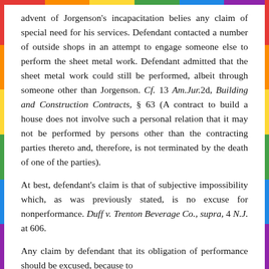advent of Jorgenson's incapacitation belies any claim of special need for his services. Defendant contacted a number of outside shops in an attempt to engage someone else to perform the sheet metal work. Defendant admitted that the sheet metal work could still be performed, albeit through someone other than Jorgenson. Cf. 13 Am.Jur.2d, Building and Construction Contracts, § 63 (A contract to build a house does not involve such a personal relation that it may not be performed by persons other than the contracting parties thereto and, therefore, is not terminated by the death of one of the parties).
At best, defendant's claim is that of subjective impossibility which, as was previously stated, is no excuse for nonperformance. Duff v. Trenton Beverage Co., supra, 4 N.J. at 606.
Any claim by defendant that its obligation of performance should be excused, because to